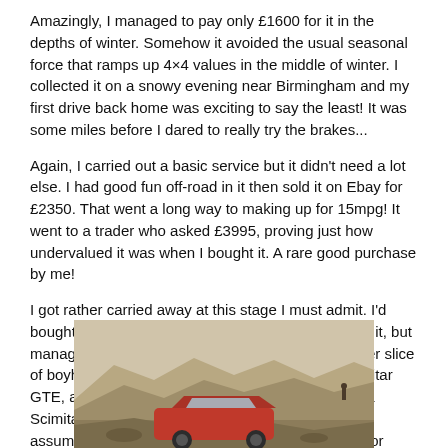Amazingly, I managed to pay only £1600 for it in the depths of winter. Somehow it avoided the usual seasonal force that ramps up 4×4 values in the middle of winter. I collected it on a snowy evening near Birmingham and my first drive back home was exciting to say the least! It was some miles before I dared to really try the brakes...
Again, I carried out a basic service but it didn't need a lot else. I had good fun off-road in it then sold it on Ebay for £2350. That went a long way to making up for 15mpg! It went to a trader who asked £3995, proving just how undervalued it was when I bought it. A rare good purchase by me!
I got rather carried away at this stage I must admit. I'd bought a childhood dream car and not only enjoyed it, but managed to turn in a profit. I decided to grab another slice of boyhood dreamland in the form of a Reliant Scimitar GTE, after a lot of careful thought. I'd never driven a Scimitar before, but surely they're actually good? I assumed so and bought an enthusiast-owned one for £1650.
[Figure (photo): A red car photographed in what appears to be a quarry or excavation site with rocky terrain and mounds of soil/gravel in the background.]